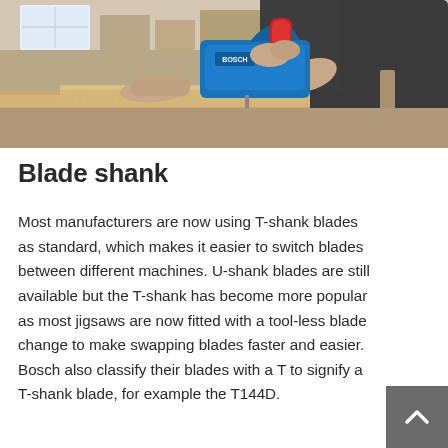[Figure (photo): A person using a blue Bosch jigsaw to cut a plank of wood in a workshop setting. The operator is wearing a dark shirt and the tool is being pressed down on a wooden board.]
Blade shank
Most manufacturers are now using T-shank blades as standard, which makes it easier to switch blades between different machines. U-shank blades are still available but the T-shank has become more popular as most jigsaws are now fitted with a tool-less blade change to make swapping blades faster and easier. Bosch also classify their blades with a T to signify a T-shank blade, for example the T144D.